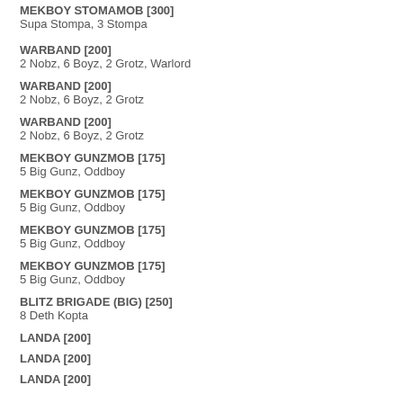MEKBOY STOMAMOB [300]
Supa Stompa, 3 Stompa
WARBAND [200]
2 Nobz, 6 Boyz, 2 Grotz, Warlord
WARBAND [200]
2 Nobz, 6 Boyz, 2 Grotz
WARBAND [200]
2 Nobz, 6 Boyz, 2 Grotz
MEKBOY GUNZMOB [175]
5 Big Gunz, Oddboy
MEKBOY GUNZMOB [175]
5 Big Gunz, Oddboy
MEKBOY GUNZMOB [175]
5 Big Gunz, Oddboy
MEKBOY GUNZMOB [175]
5 Big Gunz, Oddboy
BLITZ BRIGADE (BIG) [250]
8 Deth Kopta
LANDA [200]
LANDA [200]
LANDA [200]